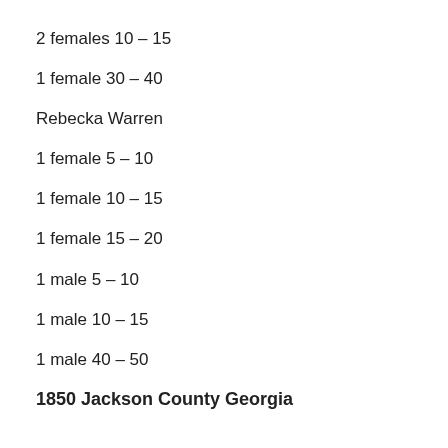2 females 10 – 15
1 female 30 – 40
Rebecka Warren
1 female 5 – 10
1 female 10 – 15
1 female 15 – 20
1 male 5 – 10
1 male 10 – 15
1 male 40 – 50
1850 Jackson County Georgia